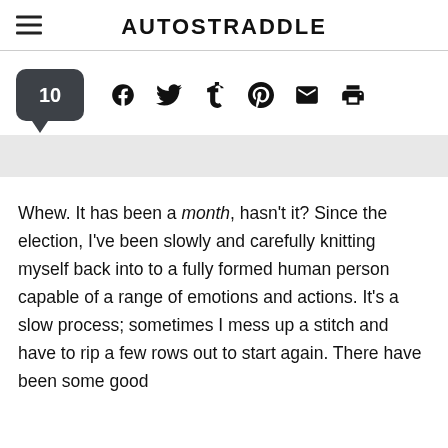AUTOSTRADDLE
[Figure (infographic): Comment count bubble showing 10, followed by social share icons: Facebook, Twitter, Tumblr, Pinterest, Email, Print]
Whew. It has been a month, hasn't it? Since the election, I've been slowly and carefully knitting myself back into to a fully formed human person capable of a range of emotions and actions. It's a slow process; sometimes I mess up a stitch and have to rip a few rows out to start again. There have been some good